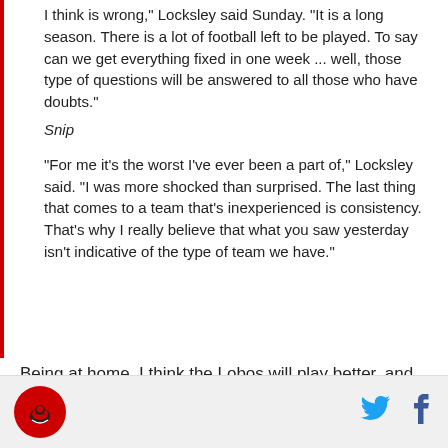I think is wrong," Locksley said Sunday. "It is a long season. There is a lot of football left to be played. To say can we get everything fixed in one week ... well, those type of questions will be answered to all those who have doubts."
Snip
"For me it's the worst I've ever been a part of," Locksley said. "I was more shocked than surprised. The last thing that comes to a team that's inexperienced is consistency. That's why I really believe that what you saw yesterday isn't indicative of the type of team we have."
Being at home, I think the Lobos will play better, and
Logo and social icons